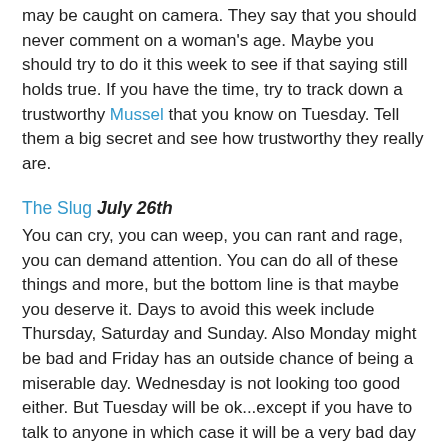may be caught on camera. They say that you should never comment on a woman's age. Maybe you should try to do it this week to see if that saying still holds true. If you have the time, try to track down a trustworthy Mussel that you know on Tuesday. Tell them a big secret and see how trustworthy they really are.
The Slug July 26th
You can cry, you can weep, you can rant and rage, you can demand attention. You can do all of these things and more, but the bottom line is that maybe you deserve it. Days to avoid this week include Thursday, Saturday and Sunday. Also Monday might be bad and Friday has an outside chance of being a miserable day. Wednesday is not looking too good either. But Tuesday will be ok...except if you have to talk to anyone in which case it will be a very bad day indeed. You need to go on a low-sodium diet to improve your health...pity this won't improve your looks though.
The Oyster July 27th - August 19th
If you have a cat, then consider also getting a dog. If you have a dog, then consider getting a cat. If you already have